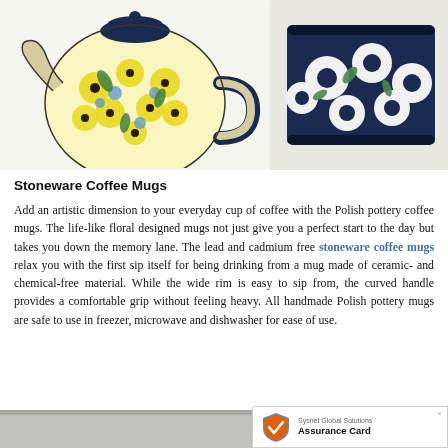[Figure (photo): Two pieces of Polish pottery side by side: on the left, a round teapot with yellow and blue floral pattern on white/cream background with dark navy rim and handle. On the right, a mug/bowl with white flowers and green leaves pattern on dark navy background.]
Stoneware Coffee Mugs
Add an artistic dimension to your everyday cup of coffee with the Polish pottery coffee mugs. The life-like floral designed mugs not just give you a perfect start to the day but takes you down the memory lane. The lead and cadmium free stoneware coffee mugs relax you with the first sip itself for being drinking from a mug made of ceramic- and chemical-free material. While the wide rim is easy to sip from, the curved handle provides a comfortable grip without feeling heavy. All handmade Polish pottery mugs are safe to use in freezer, microwave and dishwasher for ease of use.
[Figure (photo): Partial bottom photo of pottery items, gray/silver background, partially visible.]
[Figure (other): Sysnet Global Solutions Assurance Card badge with orange shield icon with checkmark.]